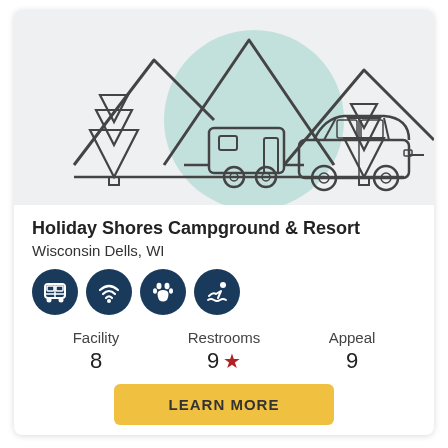[Figure (illustration): Camping illustration showing mountains in the background, a teal circular accent, two pine trees, and a car towing a travel trailer on a road, all in a minimalist line-art style on a light gray background.]
Holiday Shores Campground & Resort
Wisconsin Dells, WI
[Figure (infographic): Four dark navy circular icons in a row: a shuttle bus, WiFi signal, paw print, and swimmer.]
| Facility | Restrooms | Appeal |
| --- | --- | --- |
| 8 | 9 ★ | 9 |
LEARN MORE